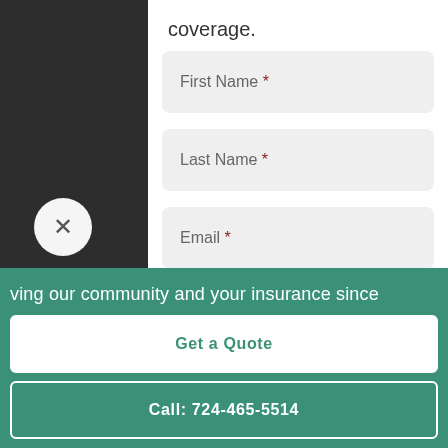coverage.
First Name *
Last Name *
Email *
Phone Number *
ving our community and your insurance since
Get a Quote
Call: 724-465-5514